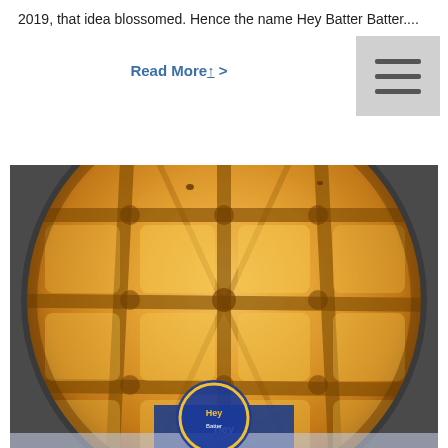2019, that idea blossomed. Hence the name Hey Batter Batter....
Read More↑ >
[Figure (photo): Close-up photo of a golden-brown round waffle in a waffle iron, with a Hey Batter Batter logo partially visible at the bottom center.]